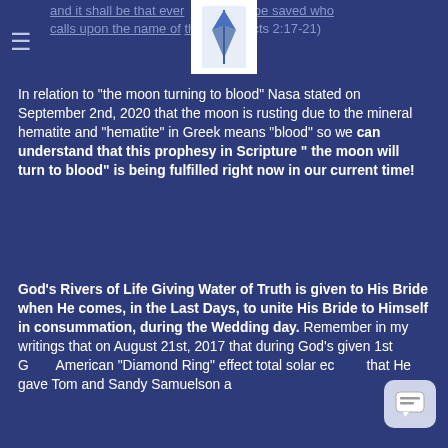and it shall be that every one shall be saved who calls upon the name of the Lord. (Acts 2:17-21)
[Figure (logo): White book/logo icon on white background, centered at top of page]
In relation to "the moon turning to blood" Nasa stated on September 2nd, 2020 that the moon is rusting due to the mineral hematite and "hematite" in Greek means "blood" so we can understand that this prophesy in Scripture " the moon will turn to blood" is being fulfilled right now in our current time!
God's Rivers of Life Giving Water of Truth is given to His Bride when He comes, in the Last Days, to unite His Bride to Himself in consummation, during the Wedding day. Remember in my writings that on August 21st, 2017 that during God's given 1st Great American "Diamond Ring" effect total solar ec... that He gave Tom and Sandy Samuelson a